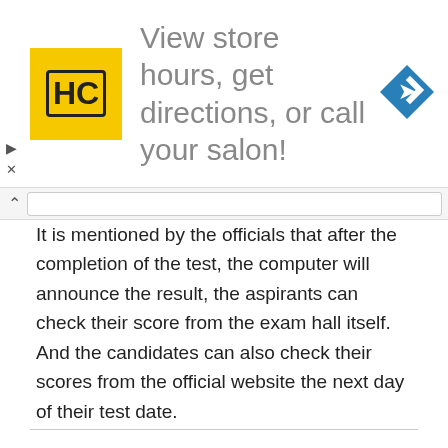[Figure (other): Advertisement banner: HC salon logo with yellow background, text 'View store hours, get directions, or call your salon!' and a blue navigation arrow icon on the right]
It is mentioned by the officials that after the completion of the test, the computer will announce the result, the aspirants can check their score from the exam hall itself. And the candidates can also check their scores from the official website the next day of their test date.
We hope this article has given you guys complete details about the BITSAT 2022 & its exam dates. For more latest updates regarding the BITSAT Exam 2022 kindly stay tuned to this article on our Exams.Freshersnow.com website.